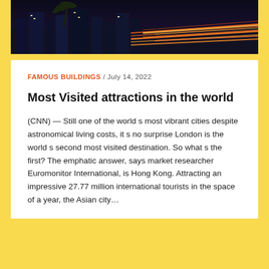[Figure (photo): Night cityscape with light trails, palm trees, illuminated buildings — city strip at night with orange and red streaks of car light trails]
FAMOUS BUILDINGS / July 14, 2022
Most Visited attractions in the world
(CNN) — Still one of the world s most vibrant cities despite astronomical living costs, it s no surprise London is the world s second most visited destination. So what s the first? The emphatic answer, says market researcher Euromonitor International, is Hong Kong. Attracting an impressive 27.77 million international tourists in the space of a year, the Asian city…
[Figure (photo): Grand Canyon at sunset with warm orange and golden light, rocky formations in foreground, silhouette of a tree on the left, sun setting on the horizon]